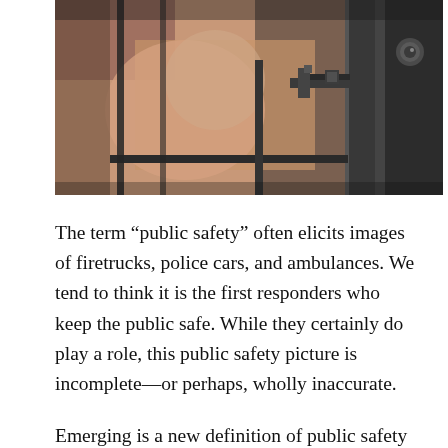[Figure (photo): Close-up photograph of a dark metal door with a lock and latch hardware, with a blurred person visible through bars in the background, suggesting a jail or detention cell door.]
The term “public safety” often elicits images of firetrucks, police cars, and ambulances. We tend to think it is the first responders who keep the public safe. While they certainly do play a role, this public safety picture is incomplete—or perhaps, wholly inaccurate.
Emerging is a new definition of public safety that moves beyond the traditional